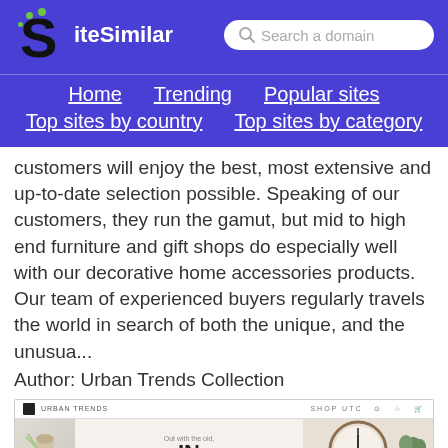[Figure (logo): SiteSimilar logo with stylized S and green dots]
[Figure (screenshot): Search box with text 'Search a domain']
Home
Trending
Popular sites
Top sites by country
Top sites by category
customers will enjoy the best, most extensive and up-to-date selection possible. Speaking of our customers, they run the gamut, but mid to high end furniture and gift shops do especially well with our decorative home accessories products. Our team of experienced buyers regularly travels the world in search of both the unique, and the unusua...
Author: Urban Trends Collection
[Figure (screenshot): Website screenshot showing Urban Trends Collection shop with clock imagery and 'Out with the old, IN' text]